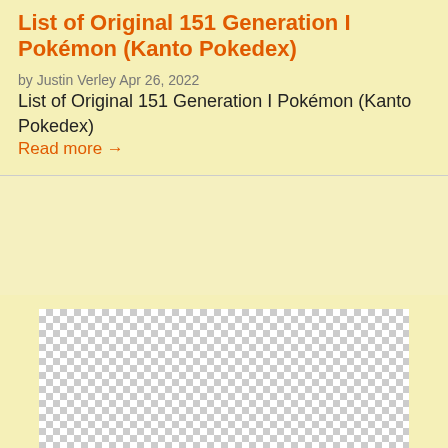List of Original 151 Generation I Pokémon (Kanto Pokedex)
by Justin Verley Apr 26, 2022
List of Original 151 Generation I Pokémon (Kanto Pokedex)
Read more →
[Figure (logo): Wizards of the Coast logo — black arc shape with blue stylized text 'Wizards of the Coast' and a white starburst, on a checkered transparency background]